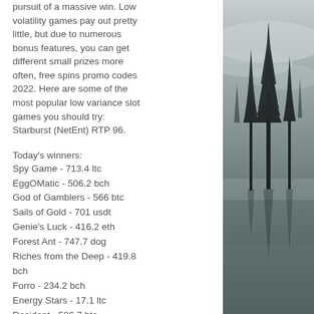pursuit of a massive win. Low volatility games pay out pretty little, but due to numerous bonus features, you can get different small prizes more often, free spins promo codes 2022. Here are some of the most popular low variance slot games you should try: Starburst (NetEnt) RTP 96.
Today's winners:
Spy Game - 713.4 ltc
EggOMatic - 506.2 bch
God of Gamblers - 566 btc
Sails of Gold - 701 usdt
Genie's Luck - 416.2 eth
Forest Ant - 747.7 dog
Riches from the Deep - 419.8 bch
Forro - 234.2 bch
Energy Stars - 17.1 ltc
Resident - 506.7 btc
Halloween - 488.4 ltc
Take 5 Christmas Edition - 204.5 eth
Stunning snow - 537.6 btc
[Figure (photo): Foggy forest with tall dark conifer trees against a grey misty sky, reflected in water below, monochromatic dark teal/grey tone]